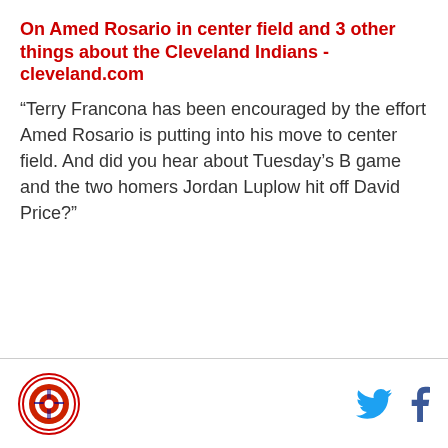On Amed Rosario in center field and 3 other things about the Cleveland Indians - cleveland.com
“Terry Francona has been encouraged by the effort Amed Rosario is putting into his move to center field. And did you hear about Tuesday’s B game and the two homers Jordan Luplow hit off David Price?”
[logo] [twitter] [facebook]